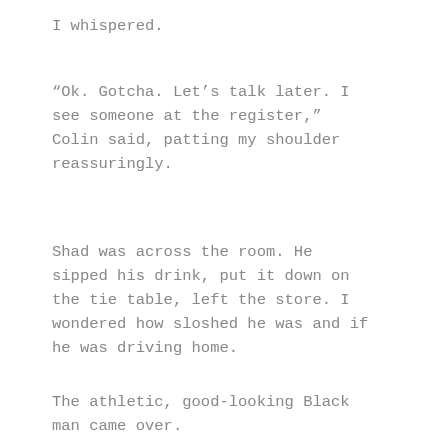I whispered.
“Ok. Gotcha. Let’s talk later. I see someone at the register,” Colin said, patting my shoulder reassuringly.
Shad was across the room. He sipped his drink, put it down on the tie table, left the store. I wondered how sloshed he was and if he was driving home.
The athletic, good-looking Black man came over.